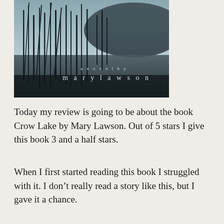[Figure (photo): Book cover of 'Crow Lake' — a dark, moody black-and-white photograph of reeds and water with a hillside in the background. Text reads 'a novel by mary lawson' in small serif letters near the bottom right.]
Today my review is going to be about the book Crow Lake by Mary Lawson. Out of 5 stars I give this book 3 and a half stars.
When I first started reading this book I struggled with it. I don't really read a story like this, but I gave it a chance.